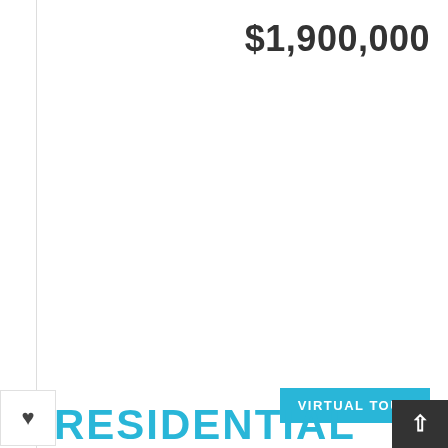$1,900,000
VIRTUAL TOUR
RESIDENTIAL